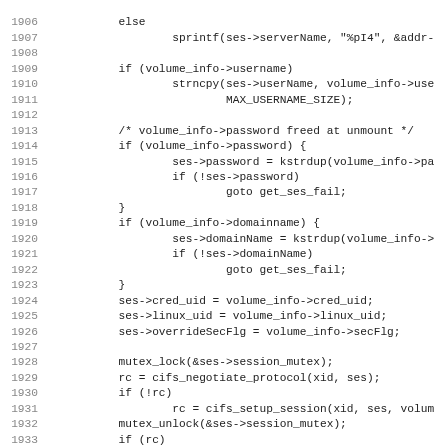Source code listing, lines 1906-1938, C code for CIFS session setup